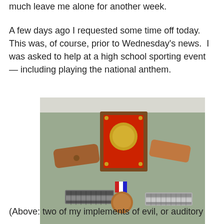much leave me alone for another week.
A few days ago I requested some time off today.  This was, of course, prior to Wednesday's news.  I was asked to help at a high school sporting event — including playing the national anthem.
[Figure (photo): Photo of harmonica-related items laid out on a green cloth surface: a wooden plaque with a red front and gold medallion, two leather/brown cases, two harmonicas, and a medal with red, white, and blue ribbon on a copper/bronze coin.]
(Above: two of my implements of evil, or auditory